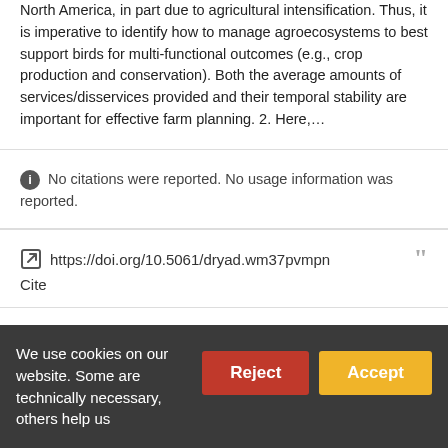North America, in part due to agricultural intensification. Thus, it is imperative to identify how to manage agroecosystems to best support birds for multi-functional outcomes (e.g., crop production and conservation). Both the average amounts of services/disservices provided and their temporal stability are important for effective farm planning. 2. Here,...
No citations were reported. No usage information was reported.
https://doi.org/10.5061/dryad.wm37pvmpn Cite
The use of social attraction techniques to restore seabird
We use cookies on our website. Some are technically necessary, others help us...